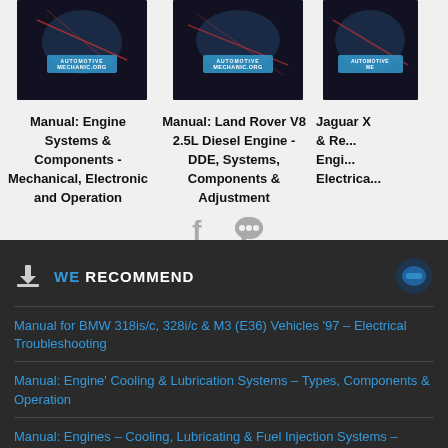[Figure (photo): Book cover for Manual: Engine Systems & Components - Mechanical, Electronic and Operation from automotivemechanic.org]
Manual: Engine Systems & Components - Mechanical, Electronic and Operation
[Figure (photo): Book cover for Manual: Land Rover V8 2.5L Diesel Engine - DDE, Systems, Components & Adjustment from automotivemechanic.org]
Manual: Land Rover V8 2.5L Diesel Engine - DDE, Systems, Components & Adjustment
[Figure (photo): Partial book cover for Jaguar repair manual (clipped on right)]
Jaguar... & Re... Engi... Electrica...
[Figure (infographic): Social sharing icons: Facebook f icon and speech bubble/comment icon in grey]
WE RECOMMEND
Manual for BMW 318is/c, 328i/c & M3 (E36) Vehicles '97 – Electrical Troubleshooting
Manual: Engine' Cooling & Lubrication Systems – Types, Components & Operation
Manual: Engines – Cooling, Lubricating & Fuel Injection Systems – Components